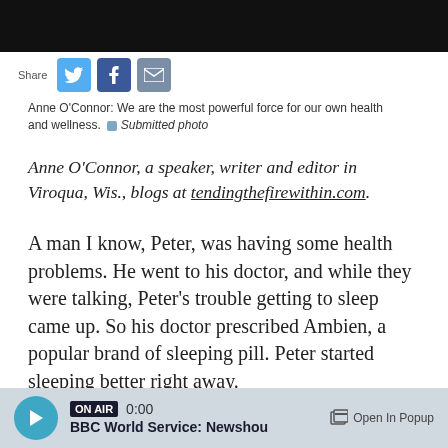[Figure (screenshot): Top black navigation bar of a website]
[Figure (infographic): Share bar with Twitter, Facebook, and Email icons]
Anne O'Connor: We are the most powerful force for our own health and wellness. Submitted photo
Anne O'Connor, a speaker, writer and editor in Viroqua, Wis., blogs at tendingthefirewithin.com.
A man I know, Peter, was having some health problems. He went to his doctor, and while they were talking, Peter's trouble getting to sleep came up. So his doctor prescribed Ambien, a popular brand of sleeping pill. Peter started sleeping better right away.
But now a study that links sleeping pills to major
[Figure (screenshot): BBC World Service Newshou audio player bar with ON AIR badge, 0:00 timestamp, and Open In Popup button]